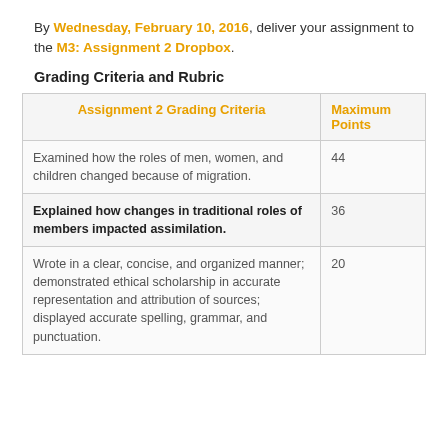By Wednesday, February 10, 2016, deliver your assignment to the M3: Assignment 2 Dropbox.
Grading Criteria and Rubric
| Assignment 2 Grading Criteria | Maximum Points |
| --- | --- |
| Examined how the roles of men, women, and children changed because of migration. | 44 |
| Explained how changes in traditional roles of members impacted assimilation. | 36 |
| Wrote in a clear, concise, and organized manner; demonstrated ethical scholarship in accurate representation and attribution of sources; displayed accurate spelling, grammar, and punctuation. | 20 |